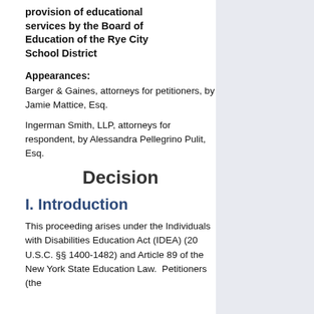provision of educational services by the Board of Education of the Rye City School District
Appearances:
Barger & Gaines, attorneys for petitioners, by Jamie Mattice, Esq.
Ingerman Smith, LLP, attorneys for respondent, by Alessandra Pellegrino Pulit, Esq.
Decision
I. Introduction
This proceeding arises under the Individuals with Disabilities Education Act (IDEA) (20 U.S.C. §§ 1400-1482) and Article 89 of the New York State Education Law.  Petitioners (the